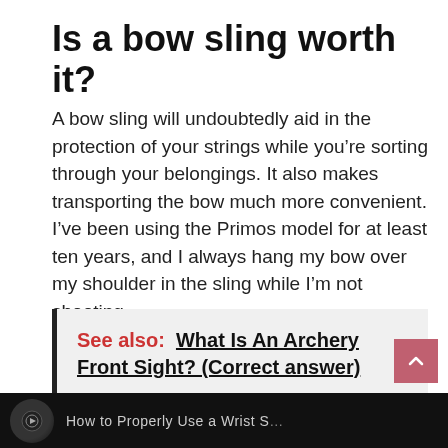Is a bow sling worth it?
A bow sling will undoubtedly aid in the protection of your strings while you’re sorting through your belongings. It also makes transporting the bow much more convenient. I’ve been using the Primos model for at least ten years, and I always hang my bow over my shoulder in the sling while I’m not shooting.
See also: What Is An Archery Front Sight? (Correct answer)
[Figure (screenshot): Bottom video bar with circular thumbnail icon and text on dark background]